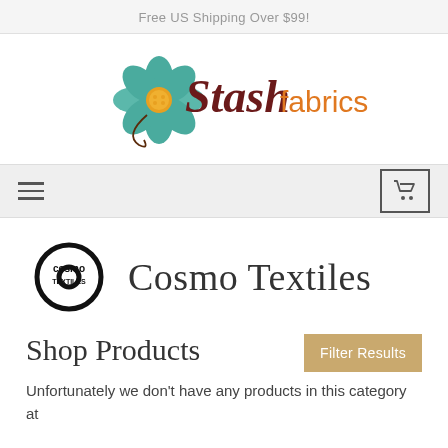Free US Shipping Over $99!
[Figure (logo): Stash Fabrics logo with teal flower illustration and text 'Stash' in dark red cursive and 'fabrics' in orange]
[Figure (other): Navigation bar with hamburger menu icon on left and shopping cart icon on right]
[Figure (logo): Cosmo Textiles logo — circular 'Cosmo' wordmark on left, 'Cosmo Textiles' heading text on right]
Shop Products
Unfortunately we don't have any products in this category at